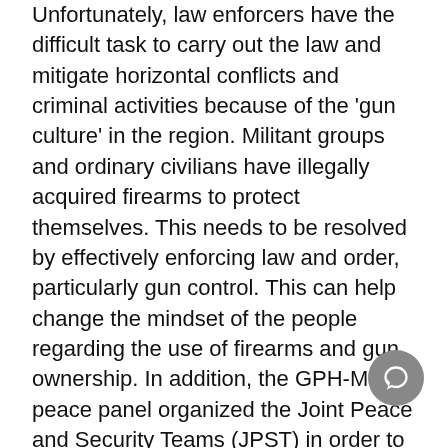Unfortunately, law enforcers have the difficult task to carry out the law and mitigate horizontal conflicts and criminal activities because of the 'gun culture' in the region. Militant groups and ordinary civilians have illegally acquired firearms to protect themselves. This needs to be resolved by effectively enforcing law and order, particularly gun control. This can help change the mindset of the people regarding the use of firearms and gun ownership. In addition, the GPH-MILF peace panel organized the Joint Peace and Security Teams (JPST) in order to mitigate risks caused by horizontal conflicts. A joint GPH-MILF armed force has been deployed to different areas of BARMM in order to...